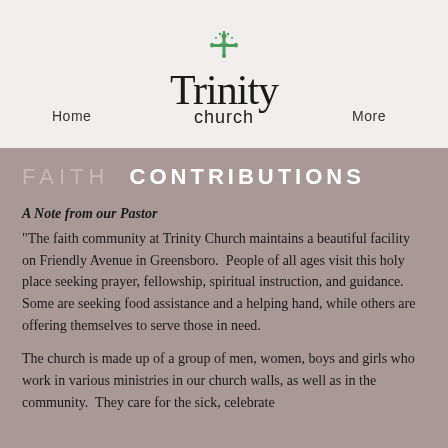[Figure (logo): Trinity Church logo with green ornamental cross above stylized text 'Trinity church']
Home   More
FAITH CONTRIBUTIONS
A Note from our Pastor
"The faith community at Trinity Church maintains a beautiful facility on Friendly Avenue in Greensboro.  People of all ages visit this holy place seeking prayer, fellowship, spiritual instruction, and guidance.  Some are seeking food assistance and a helping hand, while others are offering themselves to serve those in need.
The church is made up of a group of men, women, boys and girls who work in various ministries in our church walls, as well as in the community.  They care for the sick, celebrate